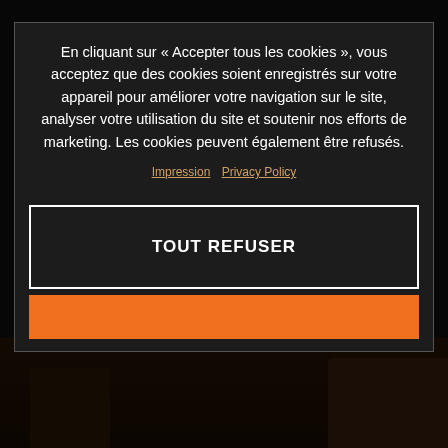REMY GARDNER WINS 2021 MOTO2™ WORLD CHAMPIONSHIP TITLE
The 2021 Moto2™ World Championship title, Valencia. Season...
[Figure (screenshot): Cookie consent modal overlay on a motorsport news article page. Modal contains French text about cookie policy, links for Impression and Privacy Policy, a 'TOUT REFUSER' (refuse all) button with white border on dark background, and an orange accept button below.]
En cliquant sur « Accepter tous les cookies », vous acceptez que des cookies soient enregistrés sur votre appareil pour améliorer votre navigation sur le site, analyser votre utilisation du site et soutenir nos efforts de marketing. Les cookies peuvent également être refusés.
Impression  Privacy Policy
TOUT REFUSER